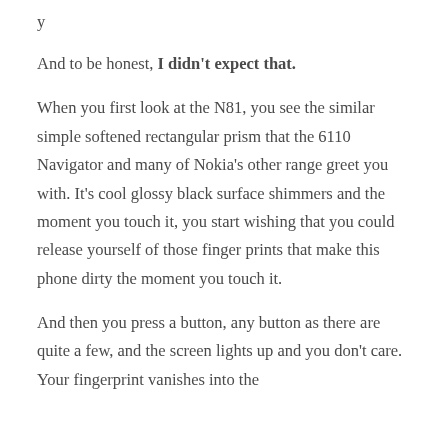y
And to be honest, I didn't expect that.
When you first look at the N81, you see the similar simple softened rectangular prism that the 6110 Navigator and many of Nokia's other range greet you with. It's cool glossy black surface shimmers and the moment you touch it, you start wishing that you could release yourself of those finger prints that make this phone dirty the moment you touch it.
And then you press a button, any button as there are quite a few, and the screen lights up and you don't care. Your fingerprint vanishes into the